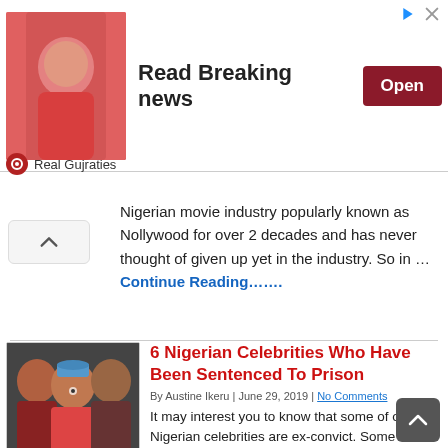[Figure (screenshot): Advertisement banner: image of a person in pink with text 'Read Breaking news' and an Open button. Real Gujraties brand label.]
Nigerian movie industry popularly known as Nollywood for over 2 decades and has never thought of given up yet in the industry. So in … Continue Reading…….
6 Nigerian Celebrities Who Have Been Sentenced To Prison
By Austine Ikeru | June 29, 2019 | No Comments
It may interest you to know that some of our Nigerian celebrities are ex-convict. Some have been convicted for several crimes and sentenced to prison. Some of them where ignorant of their crime while some deliberately committed the crime. So